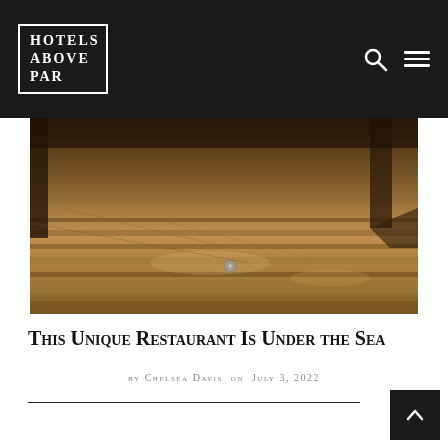Hotels Above Par
[Figure (photo): Close-up photo of a warm-toned wooden floor interior, likely a restaurant or hotel space, with dark wooden furniture visible]
This Unique Restaurant Is Under the Sea
by Chelsea Davis on July 3, 2022